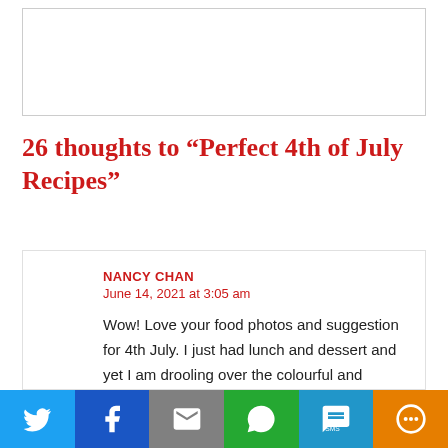[Figure (other): Placeholder image box at top of page]
26 thoughts to “Perfect 4th of July Recipes”
NANCY CHAN
June 14, 2021 at 3:05 am

Wow! Love your food photos and suggestion for 4th July. I just had lunch and dessert and yet I am drooling over the colourful and delicious food photos. The weather is hot here but I can hear the rumbling of thunder, hope it will rain to cool down the heat.
[Figure (infographic): Social sharing bar with Twitter, Facebook, Email, WhatsApp, SMS, and More buttons]